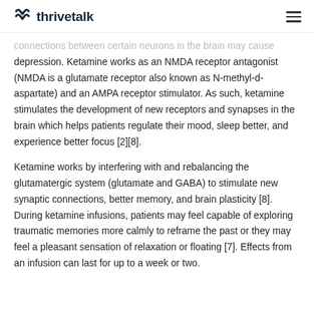thrivetalk
connections between certain neurons in the brain may cause depression. Ketamine works as an NMDA receptor antagonist (NMDA is a glutamate receptor also known as N-methyl-d-aspartate) and an AMPA receptor stimulator. As such, ketamine stimulates the development of new receptors and synapses in the brain which helps patients regulate their mood, sleep better, and experience better focus [2][8].
Ketamine works by interfering with and rebalancing the glutamatergic system (glutamate and GABA) to stimulate new synaptic connections, better memory, and brain plasticity [8]. During ketamine infusions, patients may feel capable of exploring traumatic memories more calmly to reframe the past or they may feel a pleasant sensation of relaxation or floating [7]. Effects from an infusion can last for up to a week or two.